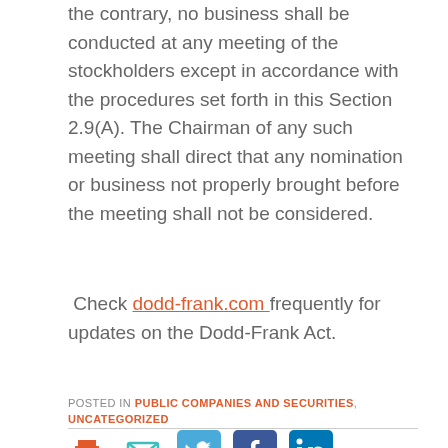the contrary, no business shall be conducted at any meeting of the stockholders except in accordance with the procedures set forth in this Section 2.9(A). The Chairman of any such meeting shall direct that any nomination or business not properly brought before the meeting shall not be considered.
Check dodd-frank.com frequently for updates on the Dodd-Frank Act.
POSTED IN PUBLIC COMPANIES AND SECURITIES, UNCATEGORIZED
[Figure (other): Social sharing icons: print, email, Twitter, Facebook, LinkedIn]